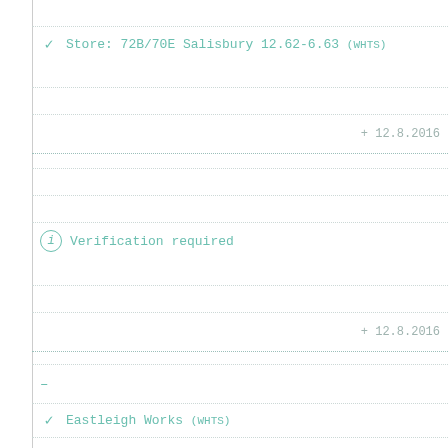Store: 72B/70E Salisbury 12.62-6.63 (WHTS)
+ 12.8.2016
Verification required
+ 12.8.2016
-
Eastleigh Works (WHTS)
RO 10.63
25.7.2015